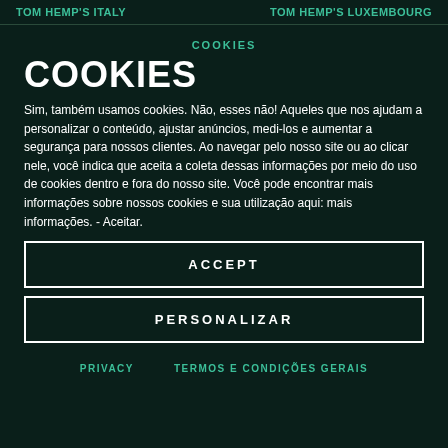TOM HEMP'S ITALY | TOM HEMP'S LUXEMBOURG
COOKIES
COOKIES
Sim, também usamos cookies. Não, esses não! Aqueles que nos ajudam a personalizar o conteúdo, ajustar anúncios, medi-los e aumentar a segurança para nossos clientes. Ao navegar pelo nosso site ou ao clicar nele, você indica que aceita a coleta dessas informações por meio do uso de cookies dentro e fora do nosso site. Você pode encontrar mais informações sobre nossos cookies e sua utilização aqui: mais informações. - Aceitar.
ACCEPT
PERSONALIZAR
PRIVACY | TERMOS E CONDIÇÕES GERAIS